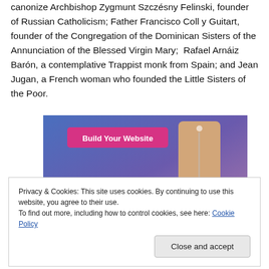canonize Archbishop Zygmunt Szczésny Felinski, founder of Russian Catholicism; Father Francisco Coll y Guitart, founder of the Congregation of the Dominican Sisters of the Annunciation of the Blessed Virgin Mary; Rafael Arnáiz Barón, a contemplative Trappist monk from Spain; and Jean Jugan, a French woman who founded the Little Sisters of the Poor.
[Figure (screenshot): Advertisement banner with gradient blue-purple background, 'Build Your Website' pink button, and a decorative tag/label graphic on the right side.]
Privacy & Cookies: This site uses cookies. By continuing to use this website, you agree to their use.
To find out more, including how to control cookies, see here: Cookie Policy